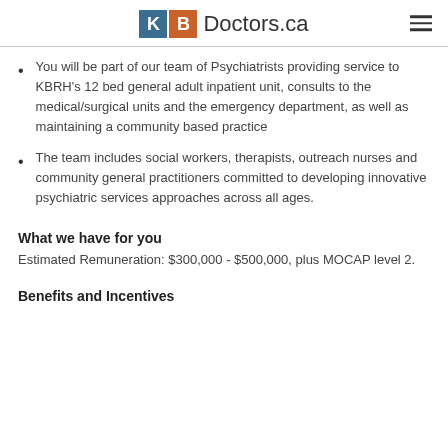KB Doctors.ca
You will be part of our team of Psychiatrists providing service to KBRH's 12 bed general adult inpatient unit, consults to the medical/surgical units and the emergency department, as well as maintaining a community based practice
The team includes social workers, therapists, outreach nurses and community general practitioners committed to developing innovative psychiatric services approaches across all ages.
What we have for you
Estimated Remuneration: $300,000 - $500,000, plus MOCAP level 2.
Benefits and Incentives